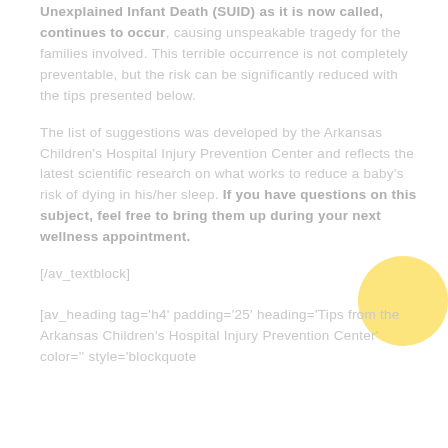Unexplained Infant Death (SUID) as it is now called, continues to occur, causing unspeakable tragedy for the families involved. This terrible occurrence is not completely preventable, but the risk can be significantly reduced with the tips presented below.
The list of suggestions was developed by the Arkansas Children's Hospital Injury Prevention Center and reflects the latest scientific research on what works to reduce a baby's risk of dying in his/her sleep. If you have questions on this subject, feel free to bring them up during your next wellness appointment.
[/av_textblock]
[av_heading tag='h4' padding='25' heading='Tips from the Arkansas Children's Hospital Injury Prevention Center' color='' style='blockquote